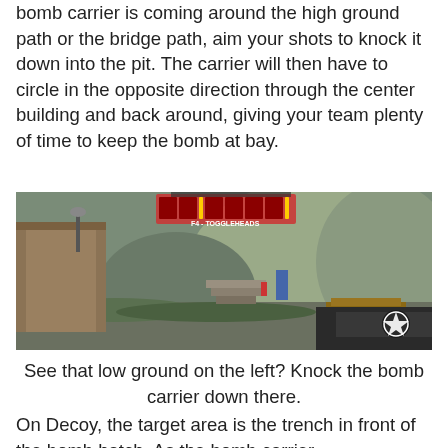bomb carrier is coming around the high ground path or the bridge path, aim your shots to knock it down into the pit. The carrier will then have to circle in the opposite direction through the center building and back around, giving your team plenty of time to keep the bomb at bay.
[Figure (screenshot): First-person shooter game screenshot showing a military/industrial map with a pit area on the left, wooden structures, rocky terrain in background, and a weapon (grenade launcher with star symbol) visible in the bottom right. HUD with team icons visible at top.]
See that low ground on the left? Knock the bomb carrier down there.
On Decoy, the target area is the trench in front of the bomb hatch. As the bomb carrier